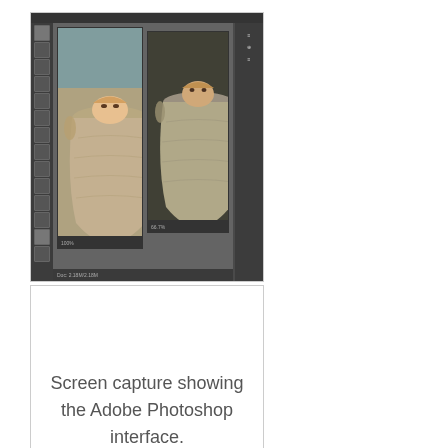[Figure (screenshot): Screen capture of Adobe Photoshop interface showing two images of a vase/urn with a human face peeking over the top edge. The interface shows the dark-themed Photoshop UI with toolbar on left, menu bar at top, and two canvas panels side by side.]
Screen capture showing the Adobe Photoshop interface.